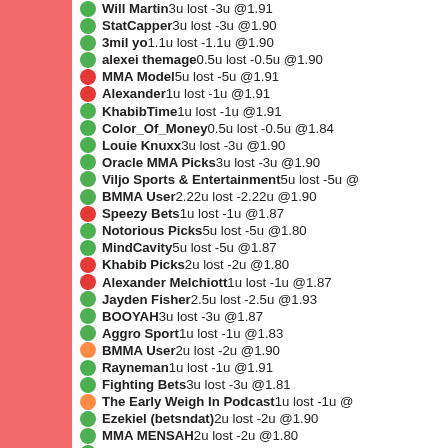Will Martin 3u lost -3u @1.91
StatCapper 3u lost -3u @1.90
3mil yo 1.1u lost -1.1u @1.90
alexei themage 0.5u lost -0.5u @1.90
MMA Model 5u lost -5u @1.91
Alexander 1u lost -1u @1.91
KhabibTime 1u lost -1u @1.91
Color_Of_Money 0.5u lost -0.5u @1.84
Louie Knuxx 3u lost -3u @1.90
Oracle MMA Picks 3u lost -3u @1.90
Viljo Sports & Entertainment 5u lost -5u @
BMMA User 2.22u lost -2.22u @1.90
Speezy Bets 1u lost -1u @1.87
Notorious Picks 5u lost -5u @1.80
MindCavity 5u lost -5u @1.87
Khabib Picks 2u lost -2u @1.80
Alexander Melchiott 1u lost -1u @1.87
Jayden Fisher 2.5u lost -2.5u @1.93
BOOYAH 3u lost -3u @1.87
Aggro Sport 1u lost -1u @1.83
BMMA User 2u lost -2u @1.90
Rayneman 1u lost -1u @1.91
Fighting Bets 3u lost -3u @1.81
The Early Weigh In Podcast 1u lost -1u @
Ezekiel (betsndat) 2u lost -2u @1.90
MMA MENSAH 2u lost -2u @1.80
TheMMA Casual 5u lost -5u @1.91
Brendan MMA 1u lost -1u @1.80
BMMA User 1u lost -1u @1.90